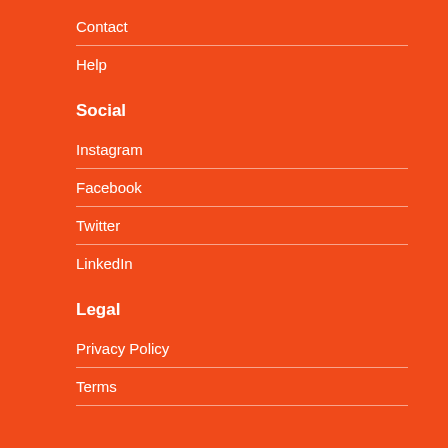Contact
Help
Social
Instagram
Facebook
Twitter
LinkedIn
Legal
Privacy Policy
Terms